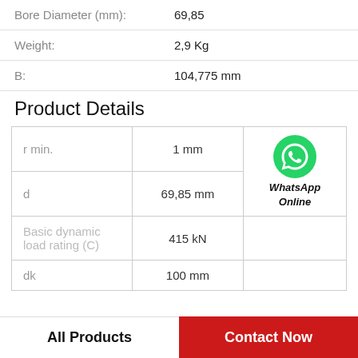| Property | Value |
| --- | --- |
| Bore Diameter (mm): | 69,85 |
| Weight: | 2,9 Kg |
| B: | 104,775 mm |
Product Details
| Parameter | Value |  |
| --- | --- | --- |
| r min. | 1 mm | WhatsApp Online |
| d | 69,85 mm |  |
| Basic dynamic load rating (C) | 415 kN |  |
| dk | 100 mm |  |
All Products
Contact Now